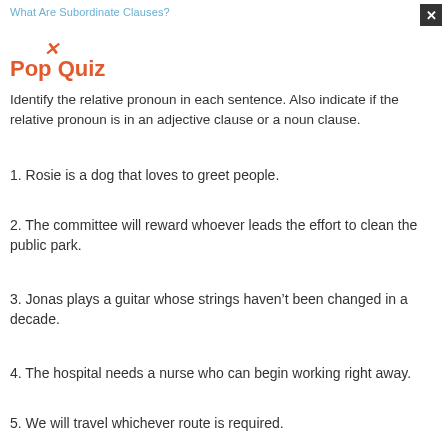What Are Subordinate Clauses?
Pop Quiz
Identify the relative pronoun in each sentence. Also indicate if the relative pronoun is in an adjective clause or a noun clause.
1. Rosie is a dog that loves to greet people.
2. The committee will reward whoever leads the effort to clean the public park.
3. Jonas plays a guitar whose strings haven't been changed in a decade.
4. The hospital needs a nurse who can begin working right away.
5. We will travel whichever route is required.